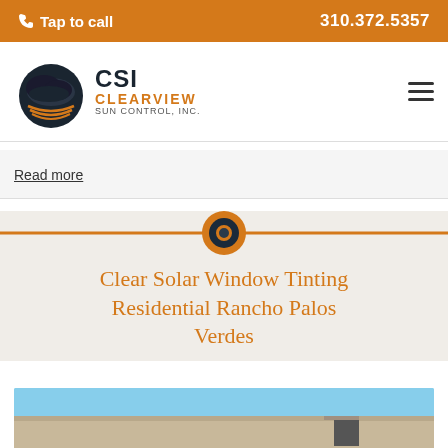Tap to call   310.372.5357
[Figure (logo): CSI Clearview Sun Control Inc. logo with orange/black sun icon]
the prevention of sun mainly with excessive heat and to protect the interior from premature fading of fabrics. ... location with lots of sun and ... by all.
Read more
[Figure (other): Decorative divider with orange horizontal line and CSI circular logo icon in center]
Clear Solar Window Tinting Residential Rancho Palos Verdes
[Figure (photo): Exterior photo of residential building with blue sky in background]